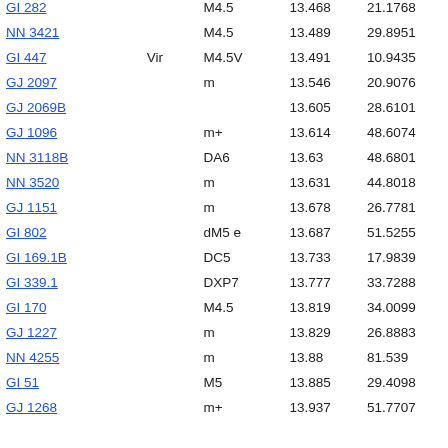| Name | Constellation | Type | Magnitude | Distance |
| --- | --- | --- | --- | --- |
| GI 282 |  | M4.5 | 13.468 | 21.1768 |
| NN 3421 |  | M4.5 | 13.489 | 29.8951 |
| GI 447 | Vir | M4.5V | 13.491 | 10.9435 |
| GJ 2097 |  | m | 13.546 | 20.9076 |
| GJ 2069B |  |  | 13.605 | 28.6101 |
| GJ 1096 |  | m+ | 13.614 | 48.6074 |
| NN 3118B |  | DA6 | 13.63 | 48.6801 |
| NN 3520 |  | m | 13.631 | 44.8018 |
| GJ 1151 |  | m | 13.678 | 26.7781 |
| GI 802 |  | dM5 e | 13.687 | 51.5255 |
| GI 169.1B |  | DC5 | 13.733 | 17.9839 |
| GI 339.1 |  | DXP7 | 13.777 | 33.7288 |
| GI 170 |  | M4.5 | 13.819 | 34.0099 |
| GJ 1227 |  | m | 13.829 | 26.8883 |
| NN 4255 |  | m | 13.88 | 81.539 |
| GI 51 |  | M5 | 13.885 | 29.4098 |
| GJ 1268 |  | m+ | 13.937 | 51.7707 |